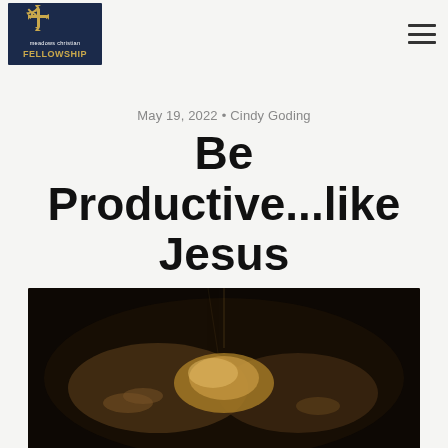[Figure (logo): Meadows Christian Fellowship logo: dark navy background with gold cross/bird motif, text 'meadows christian FELLOWSHIP' in white/gold]
[Figure (other): Hamburger menu icon (three horizontal lines) in top right corner]
May 19, 2022 • Cindy Goding
Be Productive...like Jesus
[Figure (photo): Sepia-toned photograph of hands breaking bread in darkness]